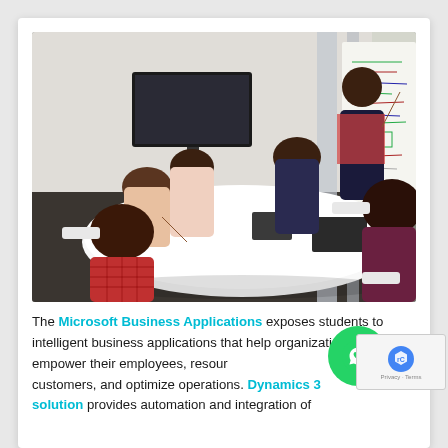[Figure (photo): Business meeting scene: several women sitting around a white oval conference table in a modern office with glass walls. One woman is standing at a whiteboard/flip chart pointing and presenting to the group. A large TV screen is mounted on the wall in the background.]
The Microsoft Business Applications exposes students to intelligent business applications that help organizations empower their employees, resources, customers, and optimize operations. Dynamics 365 solution provides automation and integration of